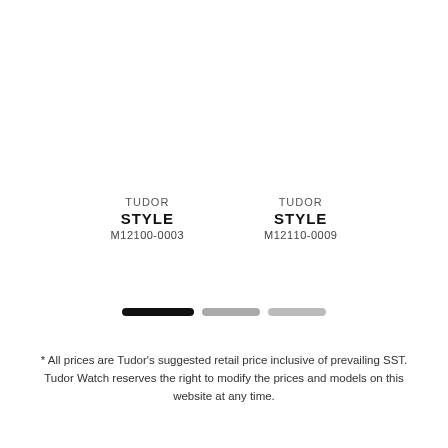TUDOR
STYLE
M12100-0003
TUDOR
STYLE
M12110-0009
[Figure (other): Pagination indicator: three horizontal bar segments — one black (active), two grey (inactive)]
* All prices are Tudor's suggested retail price inclusive of prevailing SST.
Tudor Watch reserves the right to modify the prices and models on this website at any time.